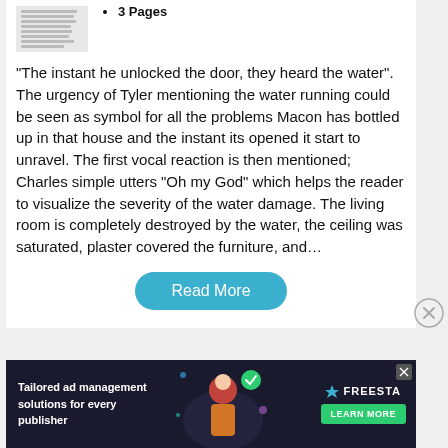3 Pages
“The instant he unlocked the door, they heard the water”. The urgency of Tyler mentioning the water running could be seen as symbol for all the problems Macon has bottled up in that house and the instant its opened it start to unravel. The first vocal reaction is then mentioned; Charles simple utters “Oh my God” which helps the reader to visualize the severity of the water damage. The living room is completely destroyed by the water, the ceiling was saturated, plaster covered the furniture, and…
[Figure (other): Read More button - teal rounded rectangle]
[Figure (other): Advertisement banner: Tailored ad management solutions for every publisher - Freesta brand with Learn More button]